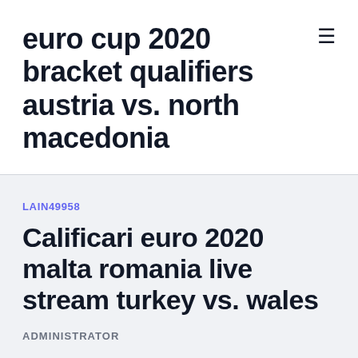euro cup 2020 bracket qualifiers austria vs. north macedonia
LAIN49958
Calificari euro 2020 malta romania live stream turkey vs. wales
ADMINISTRATOR
With Euro 2020 right around the corner, now is the time